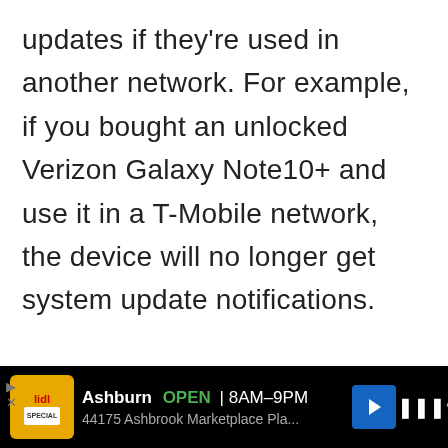updates if they're used in another network. For example, if you bought an unlocked Verizon Galaxy Note10+ and use it in a T-Mobile network, the device will no longer get system update notifications.

It's also important to note that outdated apps can sometimes be a cause of Android problems. To lessen the chances of bugs coming from outdated apps, be sure to keep them always up-to-date.
[Figure (other): Advertisement banner showing Lidl store in Ashburn, OPEN 8AM-9PM, address 44175 Ashbrook Marketplace Pla..., with navigation arrow and audio controls on black background]